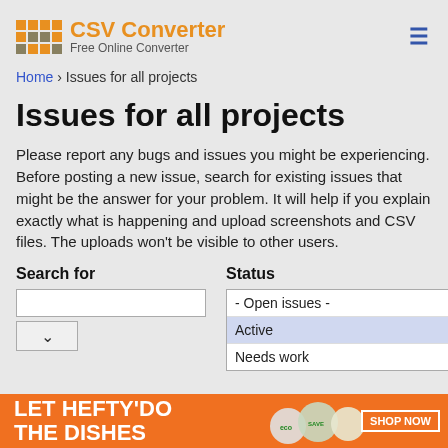[Figure (logo): CSV Converter logo with grid of squares and text 'CSV Converter Free Online Converter']
Home › Issues for all projects
Issues for all projects
Please report any bugs and issues you might be experiencing. Before posting a new issue, search for existing issues that might be the answer for your problem. It will help if you explain exactly what is happening and upload screenshots and CSV files. The uploads won't be visible to other users.
Search for
Status
- Open issues -
Active
Needs work
[Figure (photo): Advertisement banner: LET HEFTY DO THE DISHES with SHOP NOW button and product images]